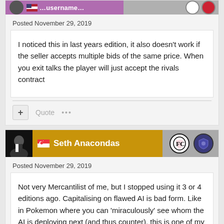Posted November 29, 2019
I noticed this in last years edition, it also doesn't work if the seller accepts multiple bids of the same price. When you exit talks the player will just accept the rivals contract
Seth Anacondas
Posted November 29, 2019
Not very Mercantilist of me, but I stopped using it 3 or 4 editions ago. Capitalising on flawed AI is bad form. Like in Pokemon where you can 'miraculously' see whom the AI is deploying next (and thus counter), this is one of my pet peeves.